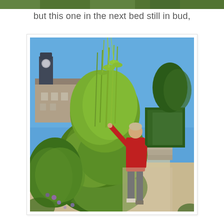[Figure (photo): Partial top strip of an outdoor garden photo, cropped at the very top of the page.]
but this one in the next bed still in bud,
[Figure (photo): A person in a red shirt standing next to a very tall green leafy plant/shrub in a garden bed. In the background is a stone building with a clock tower, green hedges, stone steps, and a clear blue sky. The plant towers above the person who reaches up toward it.]